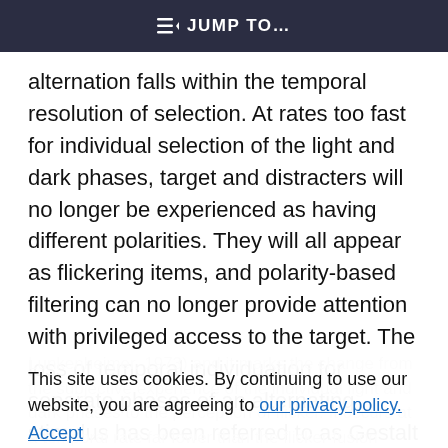JUMP TO...
alternation falls within the temporal resolution of selection. At rates too fast for individual selection of the light and dark phases, target and distracters will no longer be experienced as having different polarities. They will all appear as flickering items, and polarity-based filtering can no longer provide attention with privileged access to the target. The loss of temporal individuation for separate phases of an alternating stimulus has been referred to as Gestalt flicker fusion (van de Grind, Gruesser, &
Lunkenheimer, 1973) and it marks the change from the subjective experience of the individual light and dark phases to the perception of flicker. It occurs at a temporal rate far lower than the flicker fusion
This site uses cookies. By continuing to use our website, you are agreeing to our privacy policy. Accept